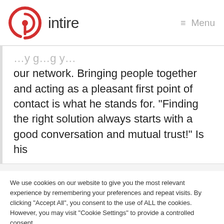intire   Menu
our network. Bringing people together and acting as a pleasant first point of contact is what he stands for. “Finding the right solution always starts with a good conversation and mutual trust!” Is his
We use cookies on our website to give you the most relevant experience by remembering your preferences and repeat visits. By clicking “Accept All”, you consent to the use of ALL the cookies. However, you may visit “Cookie Settings” to provide a controlled consent.